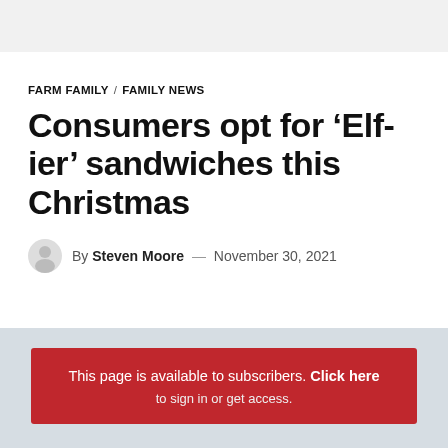FARM FAMILY / FAMILY NEWS
Consumers opt for ‘Elf-ier’ sandwiches this Christmas
By Steven Moore — November 30, 2021
This page is available to subscribers. Click here to sign in or get access.